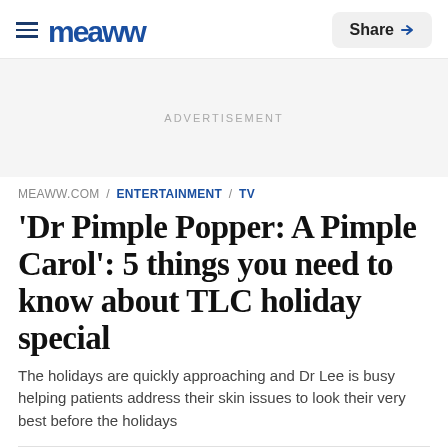Meaww — Share
ADVERTISEMENT
MEAWW.COM / ENTERTAINMENT / TV
'Dr Pimple Popper: A Pimple Carol': 5 things you need to know about TLC holiday special
The holidays are quickly approaching and Dr Lee is busy helping patients address their skin issues to look their very best before the holidays